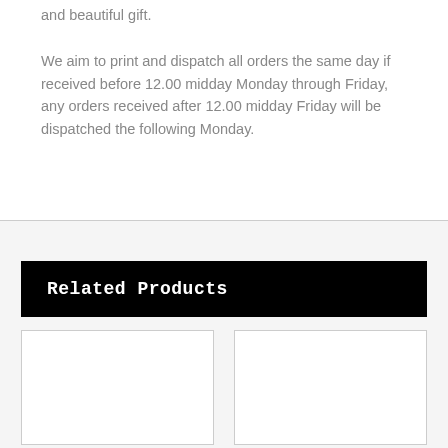and beautiful gift.
We aim to print and dispatch all orders the same day if received before 12.00 midday Monday through Friday, any orders received after 12.00 midday Friday will be dispatched the following Monday.
Related Products
[Figure (other): Empty product card placeholder (left)]
[Figure (other): Empty product card placeholder (right)]